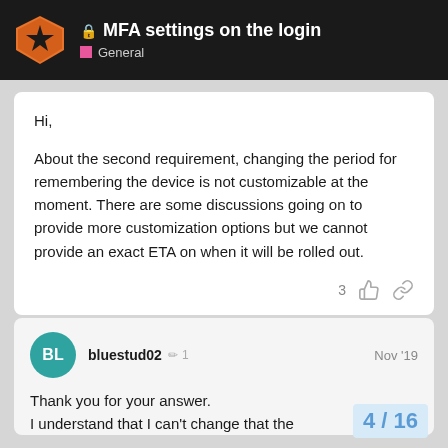🔒 MFA settings on the login — General
Hi,

About the second requirement, changing the period for remembering the device is not customizable at the moment. There are some discussions going on to provide more customization options but we cannot provide an exact ETA on when it will be rolled out.
bluestud02  1 ✏  Nov '19
Thank you for your answer.
I understand that I can't change that the